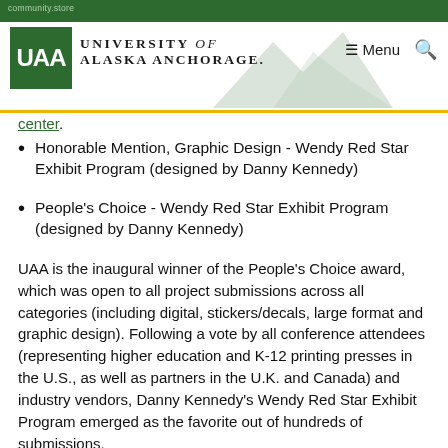University of Alaska Anchorage
center.
Honorable Mention, Graphic Design - Wendy Red Star Exhibit Program (designed by Danny Kennedy)
People's Choice - Wendy Red Star Exhibit Program (designed by Danny Kennedy)
UAA is the inaugural winner of the People's Choice award, which was open to all project submissions across all categories (including digital, stickers/decals, large format and graphic design). Following a vote by all conference attendees (representing higher education and K-12 printing presses in the U.S., as well as partners in the U.K. and Canada) and industry vendors, Danny Kennedy's Wendy Red Star Exhibit Program emerged as the favorite out of hundreds of submissions.